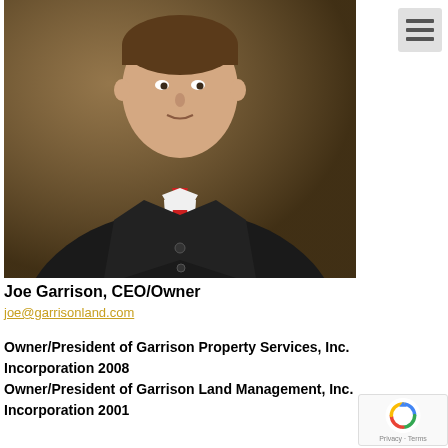[Figure (photo): Professional headshot of Joe Garrison wearing a black suit and red tie, posed against a brown background.]
Joe Garrison, CEO/Owner
joe@garrisonland.com
Owner/President of Garrison Property Services, Inc.
Incorporation 2008
Owner/President of Garrison Land Management, Inc.
Incorporation 2001